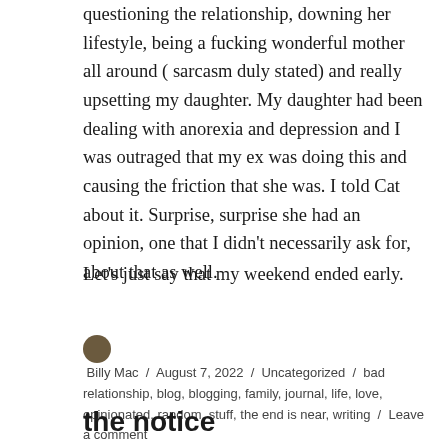questioning the relationship, downing her lifestyle, being a fucking wonderful mother all around ( sarcasm duly stated) and really upsetting my daughter. My daughter had been dealing with anorexia and depression and I was outraged that my ex was doing this and causing the friction that she was. I told Cat about it. Surprise, surprise she had an opinion, one that I didn't necessarily ask for, about that as well.
Let's just say that my weekend ended early.
Billy Mac / August 7, 2022 / Uncategorized / bad relationship, blog, blogging, family, journal, life, love, opinionated, random, stuff, the end is near, writing / Leave a comment
the notice